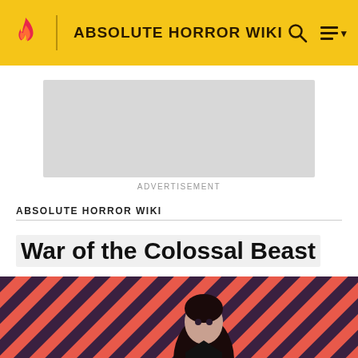ABSOLUTE HORROR WIKI
[Figure (screenshot): Advertisement placeholder box]
ADVERTISEMENT
ABSOLUTE HORROR WIKI
War of the Colossal Beast
[Figure (photo): Hero image with diagonal red and dark stripes background pattern and a dark-haired figure in black clothing centered in foreground]